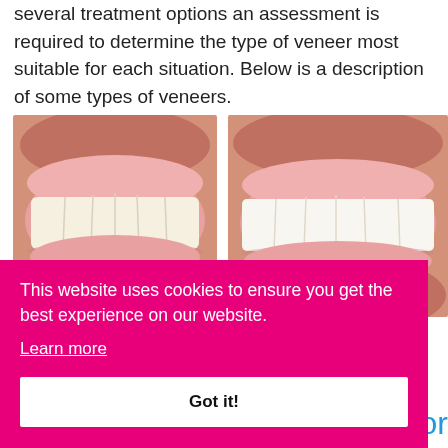several treatment options an assessment is required to determine the type of veneer most suitable for each situation. Below is a description of some types of veneers.
[Figure (photo): Two side-by-side dental photos showing smiling mouths with teeth veneers — before and after treatment]
This website uses cookies to ensure you get the best experience on our website. Learn more
Got it!
e for